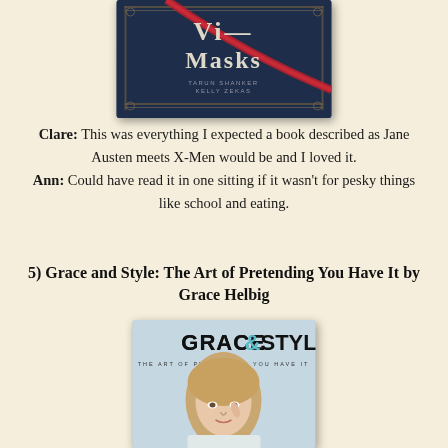[Figure (photo): Book cover showing 'Vi...Masks' by Tarun Shanker and Kelly Zekas, dark blue/navy background with decorative ornamental border and a red ribbon]
Clare: This was everything I expected a book described as Jane Austen meets X-Men would be and I loved it. Ann: Could have read it in one sitting if it wasn't for pesky things like school and eating.
5) Grace and Style: The Art of Pretending You Have It by Grace Helbig
[Figure (photo): Book cover for 'Grace & Style: The Art of Pretending You Have It' by Grace Helbig, showing a woman with blonde hair holding her finger near her eye, light blue background with bold black title text]